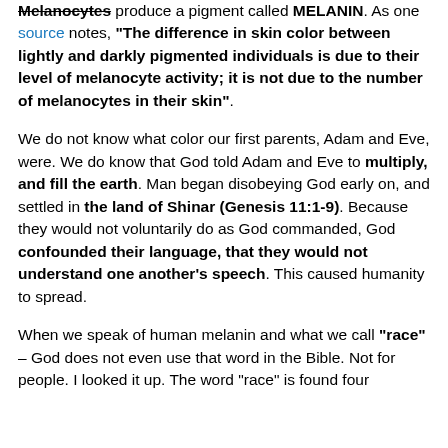Melanocytes produce a pigment called MELANIN. As one source notes, "The difference in skin color between lightly and darkly pigmented individuals is due to their level of melanocyte activity; it is not due to the number of melanocytes in their skin".
We do not know what color our first parents, Adam and Eve, were. We do know that God told Adam and Eve to multiply, and fill the earth. Man began disobeying God early on, and settled in the land of Shinar (Genesis 11:1-9). Because they would not voluntarily do as God commanded, God confounded their language, that they would not understand one another's speech. This caused humanity to spread.
When we speak of human melanin and what we call "race" – God does not even use that word in the Bible. Not for people. I looked it up. The word "race" is found four